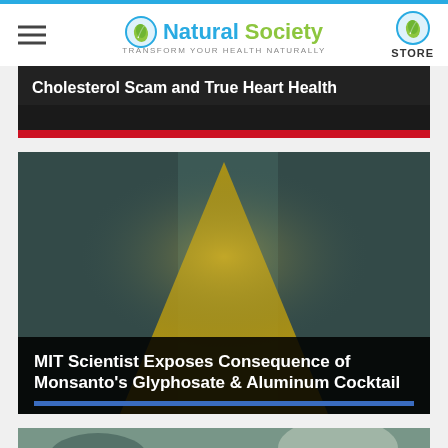Natural Society – Transform your health naturally – STORE
Cholesterol Scam and True Heart Health
[Figure (photo): Blurred abstract image with yellow triangular shape on dark teal/grey background]
MIT Scientist Exposes Consequence of Monsanto's Glyphosate & Aluminum Cocktail
[Figure (photo): Partially visible blurred image at bottom of page, dark teal and light tones]